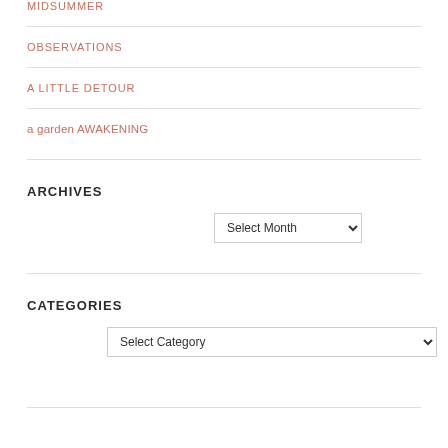MIDSUMMER
OBSERVATIONS
A LITTLE DETOUR
a garden AWAKENING
ARCHIVES
Select Month (dropdown)
CATEGORIES
Select Category (dropdown)